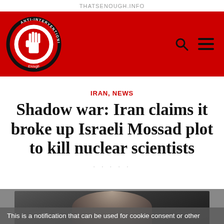THATSENOUGH.INFO
[Figure (logo): Anti-Interventionist Movement logo — circular badge with a raised hand, red circle and black ring, on red banner. Search icon and hamburger menu icon on the right side of the red navigation banner.]
IRAN, NEWS
Shadow war: Iran claims it broke up Israeli Mossad plot to kill nuclear scientists
[Figure (photo): Partial view of an elderly person's face/head, dark background, cropped at bottom of page.]
This is a notification that can be used for cookie consent or other